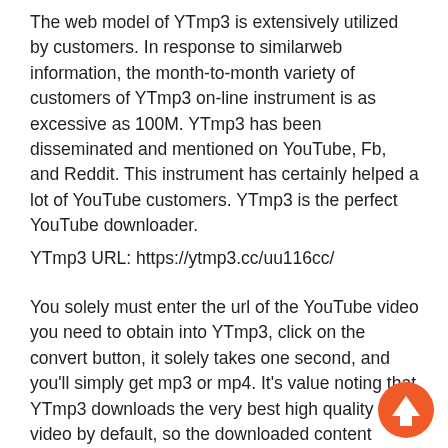The web model of YTmp3 is extensively utilized by customers. In response to similarweb information, the month-to-month variety of customers of YTmp3 on-line instrument is as excessive as 100M. YTmp3 has been disseminated and mentioned on YouTube, Fb, and Reddit. This instrument has certainly helped a lot of YouTube customers. YTmp3 is the perfect YouTube downloader.
YTmp3 URL: https://ytmp3.cc/uu116cc/
You solely must enter the url of the YouTube video you need to obtain into YTmp3, click on the convert button, it solely takes one second, and you'll simply get mp3 or mp4. It's value noting that YTmp3 downloads the very best high quality video by default, so the downloaded content material will likely be bigger.